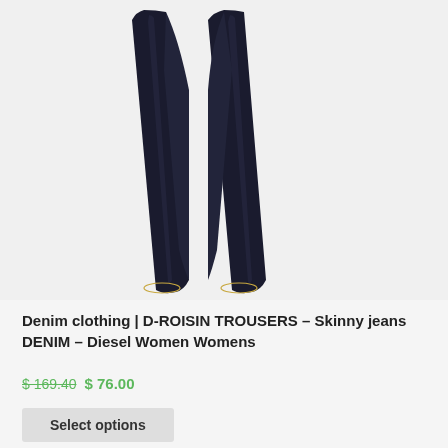[Figure (photo): Dark navy/indigo skinny jeans (D-ROISIN TROUSERS) shown from the waist down, both legs visible against a light gray background]
Denim clothing | D-ROISIN TROUSERS – Skinny jeans DENIM – Diesel Women Womens
$ 169.40 $ 76.00
Select options